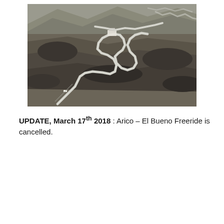[Figure (photo): Aerial photograph of a winding mountain road with multiple switchbacks cut into dry, rocky hillside terrain. The serpentine road snakes up the mountain with several tight hairpin turns visible.]
UPDATE, March 17th 2018 : Arico – El Bueno Freeride is cancelled.